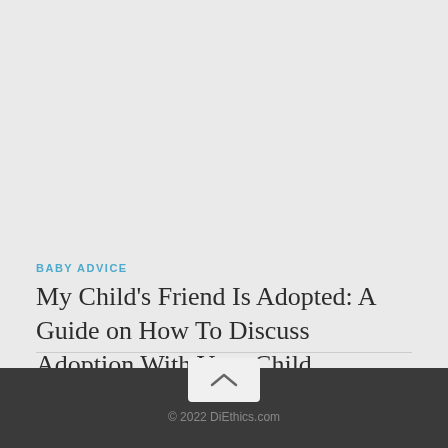BABY ADVICE
My Child's Friend Is Adopted: A Guide on How To Discuss Adoption With Your Child
© 2022 DiEthics.com